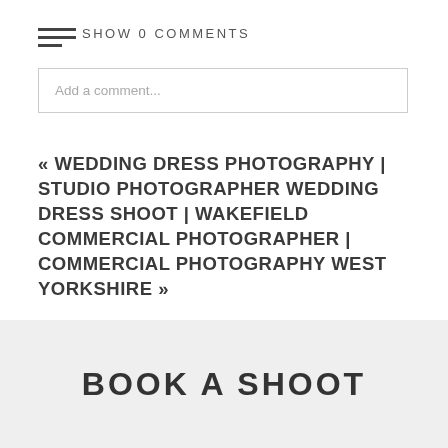SHOW 0 COMMENTS
Add a comment...
« WEDDING DRESS PHOTOGRAPHY | STUDIO PHOTOGRAPHER WEDDING DRESS SHOOT | WAKEFIELD COMMERCIAL PHOTOGRAPHER | COMMERCIAL PHOTOGRAPHY WEST YORKSHIRE »
BOOK A SHOOT